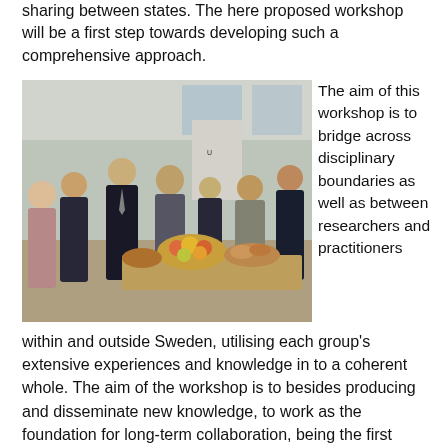sharing between states. The here proposed workshop will be a first step towards developing such a comprehensive approach.
[Figure (photo): Group of people in business attire networking at a workshop event, with a food and fruit spread visible on a table in the foreground, and a banner/sign in the background.]
The aim of this workshop is to bridge across disciplinary boundaries as well as between researchers and practitioners within and outside Sweden, utilising each group's extensive experiences and knowledge in to a coherent whole. The aim of the workshop is to besides producing and disseminate new knowledge, to work as the foundation for long-term collaboration, being the first step in the creation of a European Network on Hybrid Warfare Capabilities that can work across